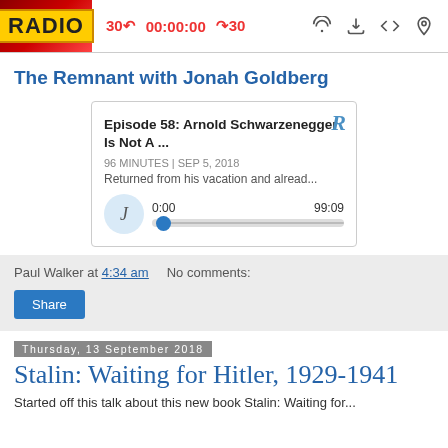RADIO | 30⟵ 00:00:00 ⟳30
The Remnant with Jonah Goldberg
[Figure (screenshot): Podcast player card for Episode 58: Arnold Schwarzenegger Is Not A ... — 96 MINUTES | SEP 5, 2018. Returned from his vacation and alread... Audio player showing 0:00 / 99:09 with avatar J and progress slider.]
Paul Walker at 4:34 am   No comments:
Share
Thursday, 13 September 2018
Stalin: Waiting for Hitler, 1929-1941
Started off this talk about this new book Stalin: Waiting for...